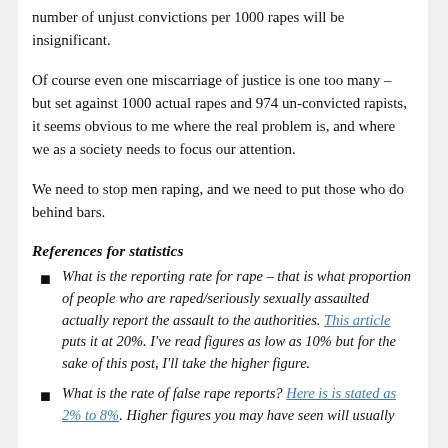number of unjust convictions per 1000 rapes will be insignificant.
Of course even one miscarriage of justice is one too many – but set against 1000 actual rapes and 974 un-convicted rapists, it seems obvious to me where the real problem is, and where we as a society needs to focus our attention.
We need to stop men raping, and we need to put those who do behind bars.
References for statistics
What is the reporting rate for rape – that is what proportion of people who are raped/seriously sexually assaulted actually report the assault to the authorities. This article puts it at 20%. I've read figures as low as 10% but for the sake of this post, I'll take the higher figure.
What is the rate of false rape reports? Here is is stated as 2% to 8%. Higher figures you may have seen will usually